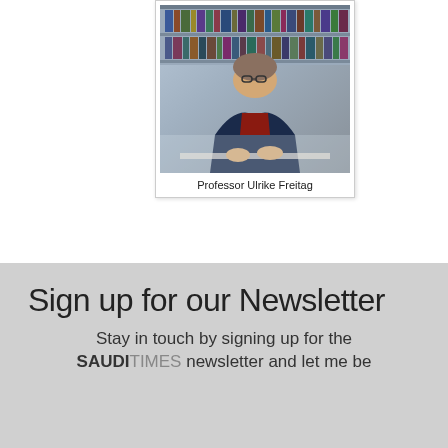[Figure (photo): Photograph of Professor Ulrike Freitag, a woman with short hair and glasses wearing a dark blazer over a red top, seated at a desk with bookshelves in the background]
Professor Ulrike Freitag
Sign up for our Newsletter
Stay in touch by signing up for the SAUDITIMES newsletter and let me be